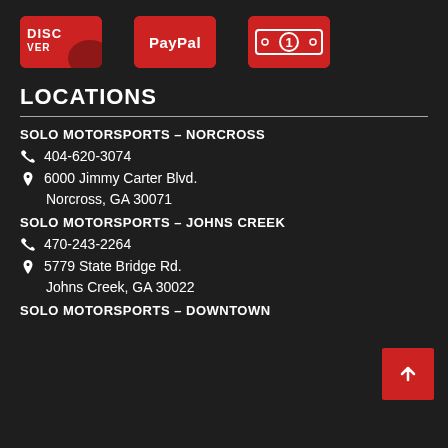[Figure (logo): Three payment method icons: Discover card, PayPal, and cash/dollar bill icon, all in red with white text on dark background]
LOCATIONS
SOLO MOTORSPORTS – NORCROSS
404-620-3074
6000 Jimmy Carter Blvd. Norcross, GA 30071
SOLO MOTORSPORTS – JOHNS CREEK
470-243-2264
5779 State Bridge Rd. Johns Creek, GA 30022
SOLO MOTORSPORTS – DOWNTOWN